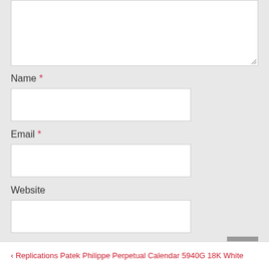[Figure (screenshot): Top portion of a comment form textarea (white input box), partially visible at the top of the page with a resize handle in the bottom right corner.]
Name *
[Figure (screenshot): Name text input field, white rectangular input box.]
Email *
[Figure (screenshot): Email text input field, white rectangular input box.]
Website
[Figure (screenshot): Website text input field, white rectangular input box.]
Save my name, email, and website in this browser for the next time I comment.
[Figure (screenshot): POST COMMENT button, red background with white uppercase text.]
[Figure (screenshot): Scroll to top button, grey square with upward chevron icon.]
< Replications Patek Philippe Perpetual Calendar 5940G 18K White